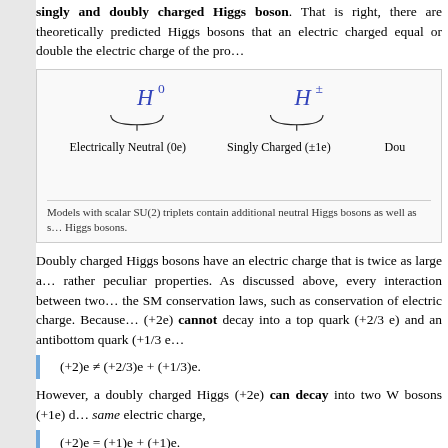singly and doubly charged Higgs boson. That is right, there are theoretically predicted Higgs bosons that an electric charged equal or double the electric charge of the proton.
[Figure (illustration): Diagram showing H^0 (Electrically Neutral, 0e), H^± (Singly Charged, ±1e), and Dou... with underbrace notation. Caption: Models with scalar SU(2) triplets contain additional neutral Higgs bosons as well as singly and doubly charged Higgs bosons.]
Doubly charged Higgs bosons have an electric charge that is twice as large as the proton and have rather peculiar properties. As discussed above, every interaction between two particles must obey the SM conservation laws, such as conservation of electric charge. Because of this, a Higgs boson (+2e) cannot decay into a top quark (+2/3 e) and an antibottom quark (+1/3 e),
However, a doubly charged Higgs (+2e) can decay into two W bosons (+1e) due to their combined same electric charge,
but that is it. A doubly charged Higgs boson cannot decay into any other pair of particles without violate electric charge conservation. For these two types of interactions, we need to check if lepton number is conserved:
For the decay into same-sign W boson pairs, the total lepton number is